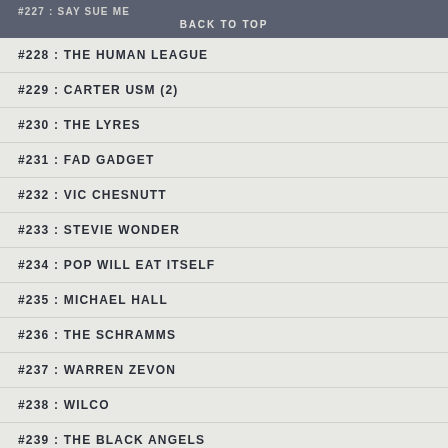#227 : SAY SUE ME
BACK TO TOP
#228 : THE HUMAN LEAGUE
#229 : CARTER USM (2)
#230 : THE LYRES
#231 : FAD GADGET
#232 : VIC CHESNUTT
#233 : STEVIE WONDER
#234 : POP WILL EAT ITSELF
#235 : MICHAEL HALL
#236 : THE SCHRAMMS
#237 : WARREN ZEVON
#238 : WILCO
#239 : THE BLACK ANGELS